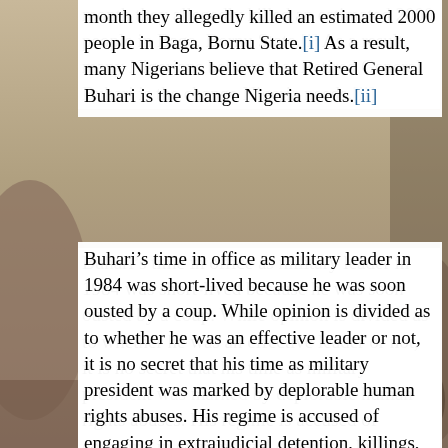month they allegedly killed an estimated 2000 people in Baga, Bornu State.[i] As a result, many Nigerians believe that Retired General Buhari is the change Nigeria needs.[ii]
Buhari’s time in office as military leader in 1984 was short-lived because he was soon ousted by a coup. While opinion is divided as to whether he was an effective leader or not, it is no secret that his time as military president was marked by deplorable human rights abuses. His regime is accused of engaging in extrajudicial detention, killings, enforced disappearance, and house arrests, amongst other violations.[iii] He contested the 2011 democratic elections and lost. A loss he did not accept quietly.
The victor was Goodluck Jonathan, who has been ridiculed in the Western media as an ineffective